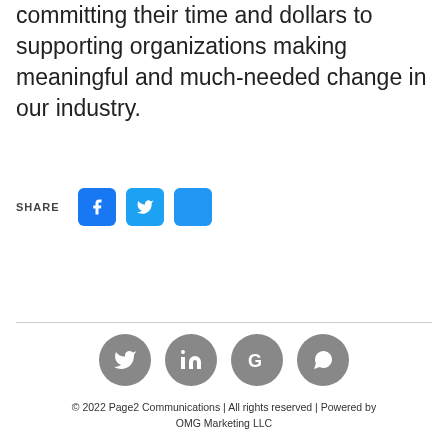committing their time and dollars to supporting organizations making meaningful and much-needed change in our industry.
SHARE
© 2022 Page2 Communications | All rights reserved | Powered by OMG Marketing LLC